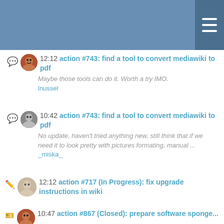12:12 action #743: find a tool to convert mediawiki to pdf
Maybe those tools can do it. Worth a try IMO.
lnussel
10:42 action #743: find a tool to convert mediawiki to pdf
No update, haven't tried anything new, still think that if we need it to look pretty with pictures formating, manual ...
_miska_
12:12 action #717 (In Progress): fix upgrade instructions in wiki
I already performed an update by simply copying and pasting the instructions there, so they were ok.
I updated the...
ancorgs
10:47 action #867 (Closed): prepare software sponge...